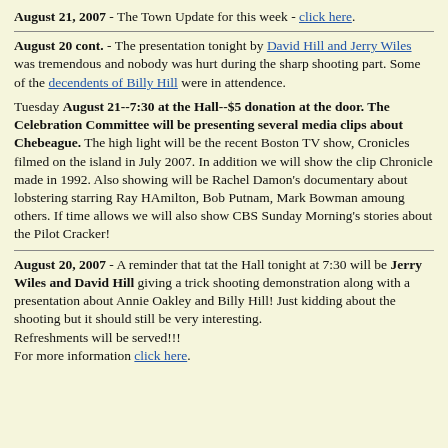August 21, 2007 - The Town Update for this week - click here.
August 20 cont. - The presentation tonight by David Hill and Jerry Wiles was tremendous and nobody was hurt during the sharp shooting part. Some of the decendents of Billy Hill were in attendence.
Tuesday August 21--7:30 at the Hall--$5 donation at the door. The Celebration Committee will be presenting several media clips about Chebeague. The high light will be the recent Boston TV show, Cronicles filmed on the island in July 2007. In addition we will show the clip Chronicle made in 1992. Also showing will be Rachel Damon's documentary about lobstering starring Ray HAmilton, Bob Putnam, Mark Bowman amoung others. If time allows we will also show CBS Sunday Morning's stories about the Pilot Cracker!
August 20, 2007 - A reminder that tat the Hall tonight at 7:30 will be Jerry Wiles and David Hill giving a trick shooting demonstration along with a presentation about Annie Oakley and Billy Hill! Just kidding about the shooting but it should still be very interesting.
Refreshments will be served!!!
For more information click here.